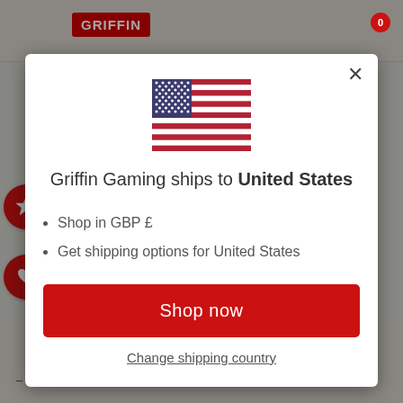[Figure (screenshot): Griffin Gaming website header with logo and navigation icons on a gray background]
Griffin Gaming ships to United States
Shop in GBP £
Get shipping options for United States
Shop now
Change shipping country